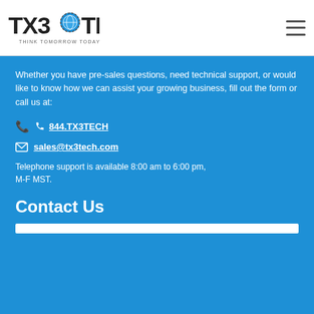TX3TECH - THINK TOMORROW TODAY
Whether you have pre-sales questions, need technical support, or would like to know how we can assist your growing business, fill out the form or call us at:
844.TX3TECH
sales@tx3tech.com
Telephone support is available 8:00 am to 6:00 pm, M-F MST.
Contact Us